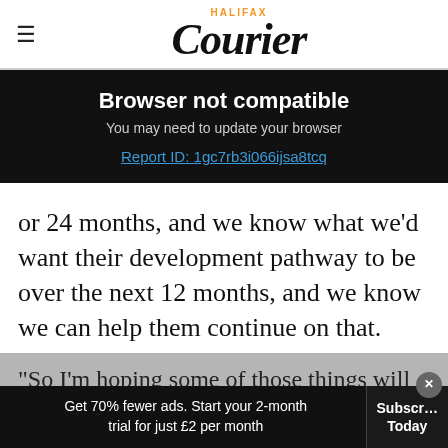Halifax Courier
Browser not compatible
You may need to update your browser
Report ID: 1gc7rb3i066ijsa8tcq
or 24 months, and we know what we'd want their development pathway to be over the next 12 months, and we know we can help them continue on that.
"So I'm hoping some of those things will maybe add value to their decision, so where they have
Get 70% fewer ads. Start your 2-month trial for just £2 per month